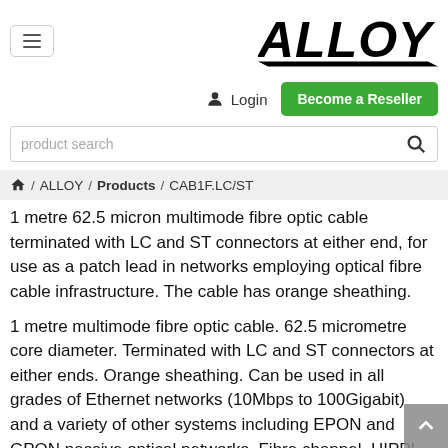ALLOY website header with hamburger menu, ALLOY logo, Login, Become a Reseller button, and product search bar
🏠 / ALLOY / Products / CAB1F.LC/ST
1 metre 62.5 micron multimode fibre optic cable terminated with LC and ST connectors at either end, for use as a patch lead in networks employing optical fibre cable infrastructure. The cable has orange sheathing.
1 metre multimode fibre optic cable. 62.5 micrometre core diameter. Terminated with LC and ST connectors at either ends. Orange sheathing. Can be used in all grades of Ethernet networks (10Mbps to 100Gigabit) and a variety of other systems including EPON and GPON passive optical networks, Fibre channel, HIPPI, OTN and ATM (SDH or